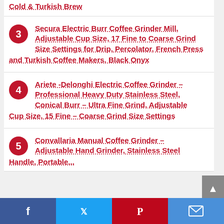Cold & Turkish Brew
3 Secura Electric Burr Coffee Grinder Mill, Adjustable Cup Size, 17 Fine to Coarse Grind Size Settings for Drip, Percolator, French Press and Turkish Coffee Makers, Black Onyx
4 Ariete -Delonghi Electric Coffee Grinder – Professional Heavy Duty Stainless Steel, Conical Burr – Ultra Fine Grind, Adjustable Cup Size, 15 Fine – Coarse Grind Size Settings
5 Convallaria Manual Coffee Grinder – Adjustable Hand Grinder, Stainless Steel Handle, Portable…
Facebook Twitter Pinterest Email